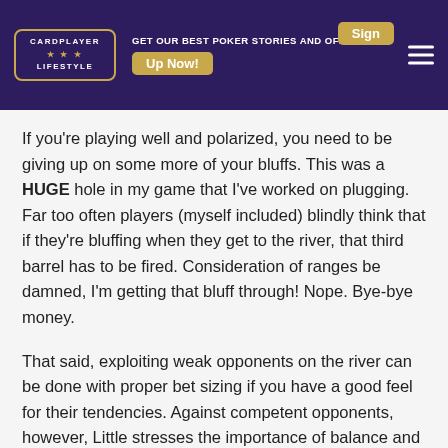CARDPLAYER LIFESTYLE | GET OUR BEST POKER STORIES AND OFFERS | Sign Up Now!
If you’re playing well and polarized, you need to be giving up on some more of your bluffs. This was a HUGE hole in my game that I’ve worked on plugging. Far too often players (myself included) blindly think that if they’re bluffing when they get to the river, that third barrel has to be fired. Consideration of ranges be damned, I’m getting that bluff through! Nope. Bye-bye money.
That said, exploiting weak opponents on the river can be done with proper bet sizing if you have a good feel for their tendencies. Against competent opponents, however, Little stresses the importance of balance and considering MDE.